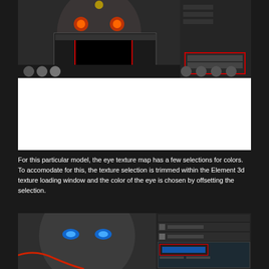[Figure (screenshot): 3D software interface showing a robot/alien character face with glowing eyes, with a dark texture loading panel open and red outlined selection boxes highlighting certain UI elements. Bottom portion shows software UI panels with material settings.]
For this particular model, the eye texture map has a few selections for colors. To accomodate for this, the texture selection is trimmed within the Element 3d texture loading window and the color of the eye is chosen by offsetting the selection.
[Figure (screenshot): 3D software interface showing a female robot character face with blue glowing eyes, with texture loading window open on the right side showing a blue stripe texture. Red outlined UI elements highlight the texture offset controls.]